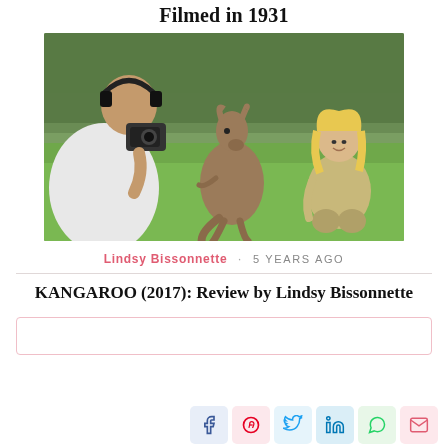Filmed in 1931
[Figure (photo): A man with headphones photographs a kangaroo with a camera while a blonde woman in khaki crouches nearby on green grass with trees in background]
Lindsy Bissonnette · 5 YEARS AGO
KANGAROO (2017): Review by Lindsy Bissonnette